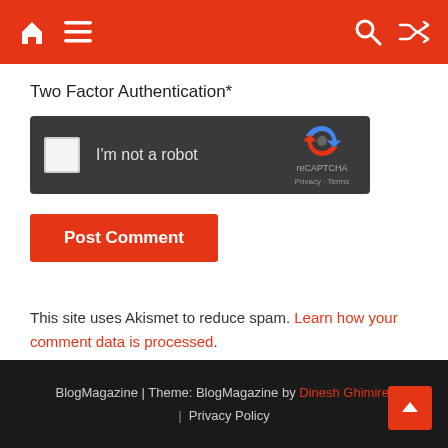[Figure (screenshot): Website navigation bar with home icon, hamburger menu, search icon, and shuffle icon on red background]
Two Factor Authentication*
[Figure (screenshot): reCAPTCHA widget with dark background, checkbox, 'I'm not a robot' text, reCAPTCHA logo, Privacy and Terms links]
Post Comment
This site uses Akismet to reduce spam. Learn how your comment data is processed.
BlogMagazine | Theme: BlogMagazine by Dinesh Ghimire. | Privacy Policy